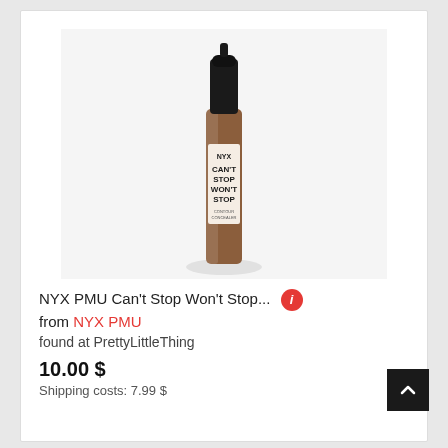[Figure (photo): NYX PMU Can't Stop Won't Stop concealer product photo — a tall slender bottle with a black cap, brown/tan liquid concealer body with 'CAN'T STOP WON'T STOP' text on the label, shown against a light grey background]
NYX PMU Can't Stop Won't Stop... ℹ from NYX PMU
found at PrettyLittleThing
10.00 $
Shipping costs: 7.99 $